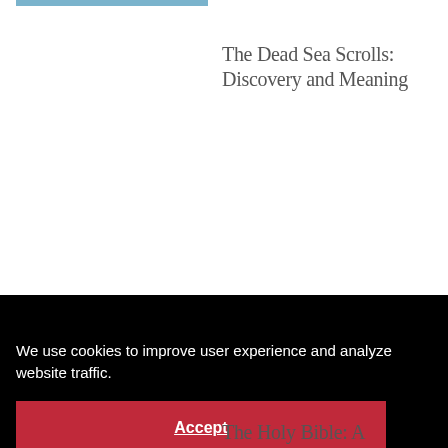[Figure (other): Thin blue horizontal bar at top left of page]
The Dead Sea Scrolls: Discovery and Meaning
Ten Top Biblical Archaeology
We use cookies to improve user experience and analyze website traffic.
Accept
The Holy Bible: A